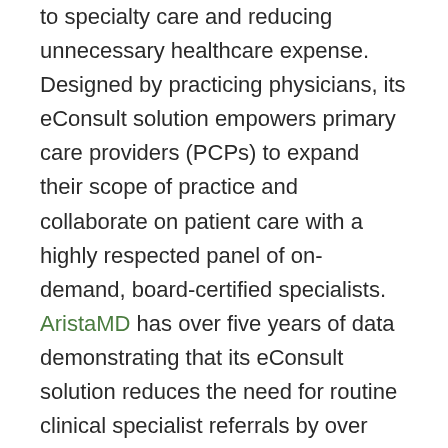to specialty care and reducing unnecessary healthcare expense. Designed by practicing physicians, its eConsult solution empowers primary care providers (PCPs) to expand their scope of practice and collaborate on patient care with a highly respected panel of on-demand, board-certified specialists. AristaMD has over five years of data demonstrating that its eConsult solution reduces the need for routine clinical specialist referrals by over 70% and has a significant positive impact on patient care.
“Every year there are approximately 20 million routine specialist referrals that could be addressed by eConsults – those